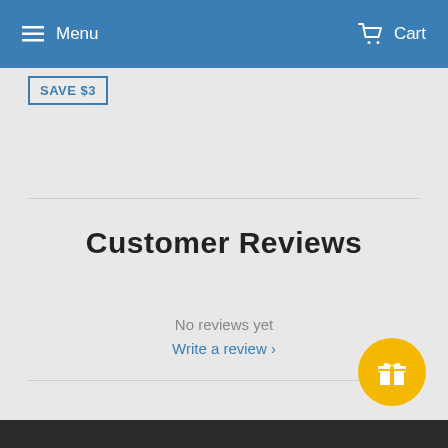Menu   Cart
SAVE $3
Customer Reviews
No reviews yet
Write a review ›
[Figure (illustration): Yellow circular gift/reward button with a white gift box icon]